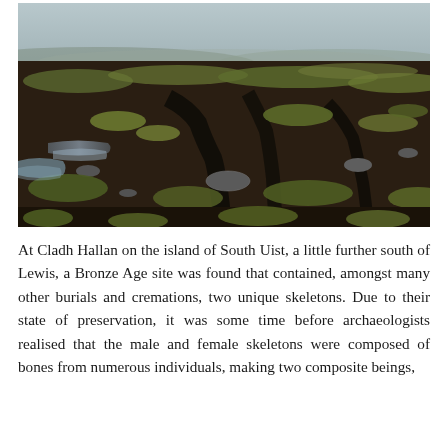[Figure (photo): Aerial ground-level photograph of a boggy moorland landscape with dark peat soil, scattered rocks, waterlogged channels, and tufts of brown and green grass under an overcast sky.]
At Cladh Hallan on the island of South Uist, a little further south of Lewis, a Bronze Age site was found that contained, amongst many other burials and cremations, two unique skeletons. Due to their state of preservation, it was some time before archaeologists realised that the male and female skeletons were composed of bones from numerous individuals, making two composite beings,